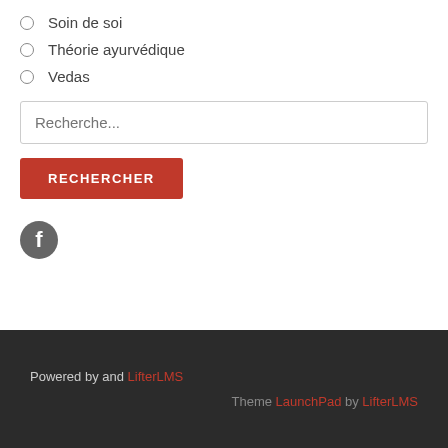Soin de soi
Théorie ayurvédique
Vedas
Recherche...
RECHERCHER
[Figure (logo): Facebook circular icon in dark gray]
Powered by and LifterLMS
Theme LaunchPad by LifterLMS